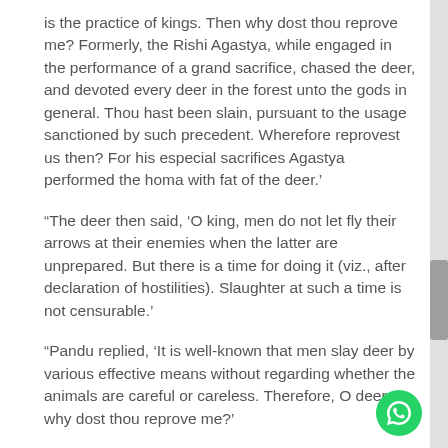is the practice of kings. Then why dost thou reprove me? Formerly, the Rishi Agastya, while engaged in the performance of a grand sacrifice, chased the deer, and devoted every deer in the forest unto the gods in general. Thou hast been slain, pursuant to the usage sanctioned by such precedent. Wherefore reprovest us then? For his especial sacrifices Agastya performed the homa with fat of the deer.’
“The deer then said, ‘O king, men do not let fly their arrows at their enemies when the latter are unprepared. But there is a time for doing it (viz., after declaration of hostilities). Slaughter at such a time is not censurable.’
“Pandu replied, ‘It is well-known that men slay deer by various effective means without regarding whether the animals are careful or careless. Therefore, O deer, why dost thou reprove me?’
“The deer then said, ‘O, king, I did not blame thee for thy